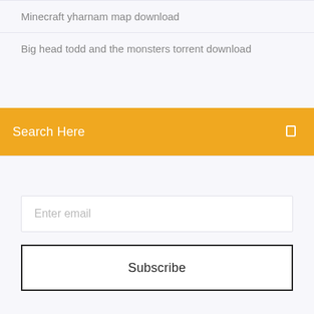Minecraft yharnam map download
Big head todd and the monsters torrent download
Search Here
Enter email
Subscribe